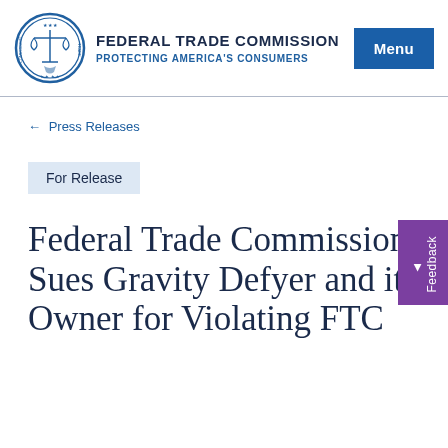FEDERAL TRADE COMMISSION PROTECTING AMERICA'S CONSUMERS
← Press Releases
For Release
Federal Trade Commission Sues Gravity Defyer and its Owner for Violating FTC